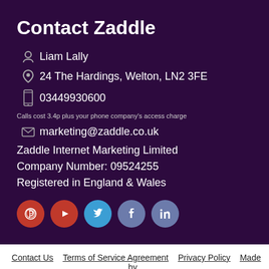Contact Zaddle
Liam Lally
24 The Hardings, Welton, LN2 3FE
03449930600
Calls cost 3.4p plus your phone company's access charge
marketing@zaddle.co.uk
Zaddle Internet Marketing Limited
Company Number: 09524255
Registered in England & Wales
[Figure (illustration): Row of social media icons: Pinterest (red), YouTube (red/orange), Twitter (blue), Facebook (blue-grey), LinkedIn (blue-grey)]
Contact Us   Terms of Service Agreement   Privacy Policy   Made by humans
Cookie Settings
© 2022 Zaddle Internet Marketing
We use cookies to personalise content and ads, to provide